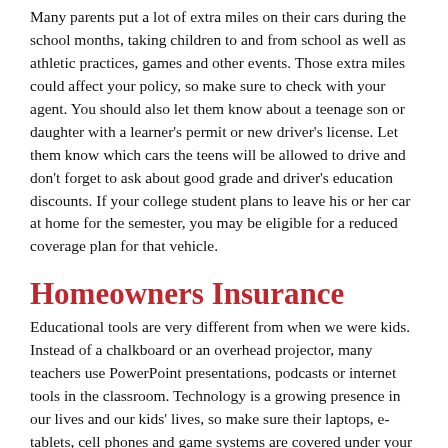Many parents put a lot of extra miles on their cars during the school months, taking children to and from school as well as athletic practices, games and other events. Those extra miles could affect your policy, so make sure to check with your agent. You should also let them know about a teenage son or daughter with a learner's permit or new driver's license. Let them know which cars the teens will be allowed to drive and don't forget to ask about good grade and driver's education discounts. If your college student plans to leave his or her car at home for the semester, you may be eligible for a reduced coverage plan for that vehicle.
Homeowners Insurance
Educational tools are very different from when we were kids. Instead of a chalkboard or an overhead projector, many teachers use PowerPoint presentations, podcasts or internet tools in the classroom. Technology is a growing presence in our lives and our kids' lives, so make sure their laptops, e-tablets, cell phones and game systems are covered under your policy. This is a great time to download a home inventory checklist at